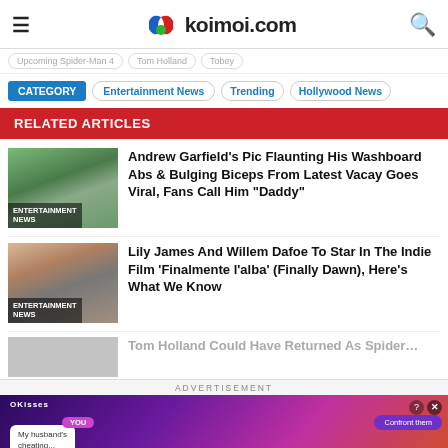koimoi.com
CATEGORY | Entertainment News | Trending | Hollywood News
RELATED ARTICLES
[Figure (photo): Thumbnail of Andrew Garfield with green background, labelled ENTERTAINMENT NEWS]
Andrew Garfield's Pic Flaunting His Washboard Abs & Bulging Biceps From Latest Vacay Goes Viral, Fans Call Him "Daddy"
[Figure (photo): Thumbnail of Lily James and Willem Dafoe, labelled ENTERTAINMENT NEWS]
Lily James And Willem Dafoe To Star In The Indie Film 'Finalmente l'alba' (Finally Dawn), Here's What We Know
[Figure (photo): Partial thumbnail, article partially visible]
Tom Holland Could Have Returned As Spider...
ADVERTISEMENT
[Figure (screenshot): Advertisement banner for a mobile game showing romantic/drama game with speech bubbles: YOU, My husband's cheating... I should..., Confront them, Leave quietly]